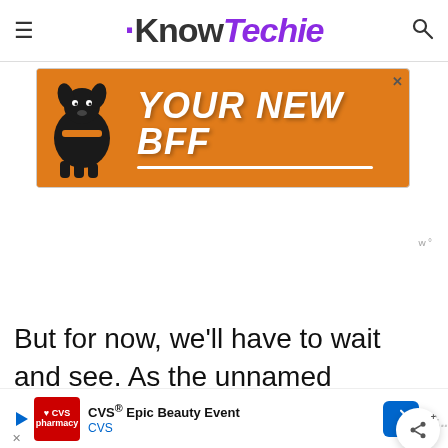KnowTechie
[Figure (illustration): Advertisement banner with orange background showing a dog and text 'YOUR NEW BFF']
But for now, we'll have to wait and see. As the unnamed sources told Bloomberg that it will be at least Spring of next year before Sony launches its new service.
[Figure (illustration): CVS Epic Beauty Event advertisement banner at bottom of page]